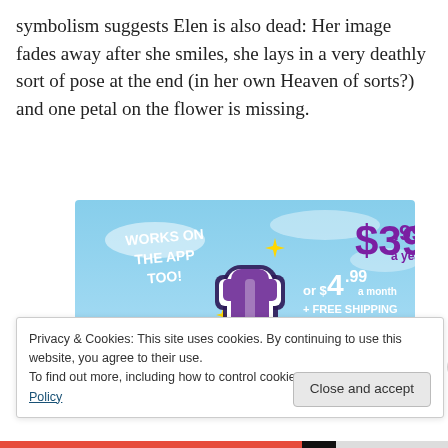symbolism suggests Elen is also dead: Her image fades away after she smiles, she lays in a very deathly sort of pose at the end (in her own Heaven of sorts?) and one petal on the flower is missing.
[Figure (infographic): Tumblr advertisement banner showing the Tumblr 't' logo in purple/pink/white with sparkle stars on a sky-blue background. Text reads: 'WORKS ON THE APP TOO!' on the left in white, and '$39.99 a year or $4.99 a month + FREE SHIPPING' in purple and white on the right.]
Privacy & Cookies: This site uses cookies. By continuing to use this website, you agree to their use.
To find out more, including how to control cookies, see here: Cookie Policy